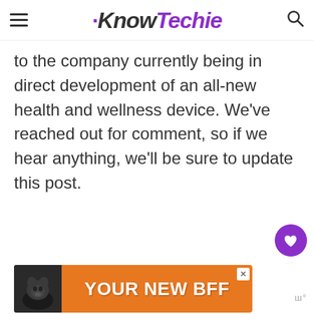KnowTechie
to the company currently being in direct development of an all-new health and wellness device. We've reached out for comment, so if we hear anything, we'll be sure to update this post.
[Figure (screenshot): Orange advertisement banner at bottom with dog image and text 'YOUR NEW BFF']